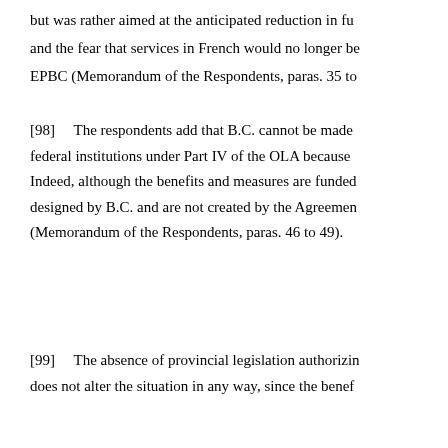but was rather aimed at the anticipated reduction in fu…
and the fear that services in French would no longer be…
EPBC (Memorandum of the Respondents, paras. 35 to…
[98]	The respondents add that B.C. cannot be made… federal institutions under Part IV of the OLA because… Indeed, although the benefits and measures are funded… designed by B.C. and are not created by the Agreemen… (Memorandum of the Respondents, paras. 46 to 49).
[99]	The absence of provincial legislation authorizi… does not alter the situation in any way, since the benef…